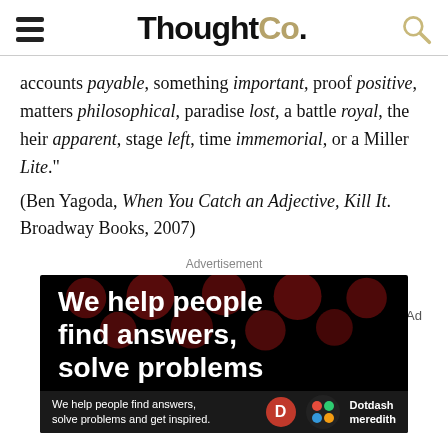ThoughtCo.
accounts payable, something important, proof positive, matters philosophical, paradise lost, a battle royal, the heir apparent, stage left, time immemorial, or a Miller Lite."
(Ben Yagoda, When You Catch an Adjective, Kill It. Broadway Books, 2007)
Advertisement
[Figure (infographic): Dark background advertisement with bold white text reading 'We help people find answers, solve problems' with dark red polka dots, and a footer bar with Dotdash Meredith branding.]